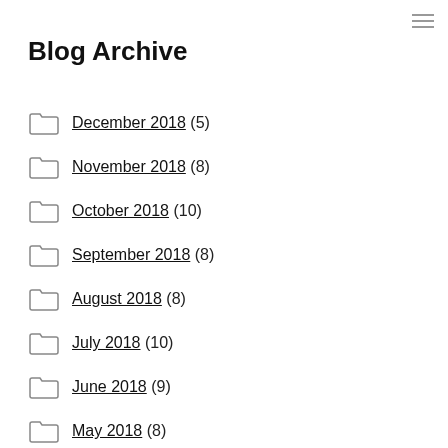Blog Archive
December 2018 (5)
November 2018 (8)
October 2018 (10)
September 2018 (8)
August 2018 (8)
July 2018 (10)
June 2018 (9)
May 2018 (8)
April 2018 (11)
March 2018 (8)
February 2018 (7)